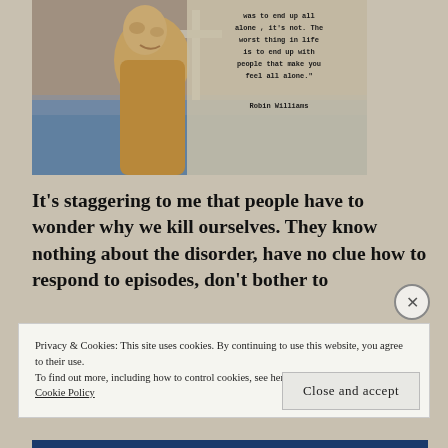[Figure (photo): Photo of Robin Williams with a quote overlay. The quote reads: 'the worst thing in life was to end up all alone, it's not. The worst thing in life is to end up with people that make you feel all alone.' - Robin Williams]
It's staggering to me that people have to wonder why we kill ourselves. They know nothing about the disorder, have no clue how to respond to episodes, don't bother to
Privacy & Cookies: This site uses cookies. By continuing to use this website, you agree to their use.
To find out more, including how to control cookies, see here:
Cookie Policy
Close and accept